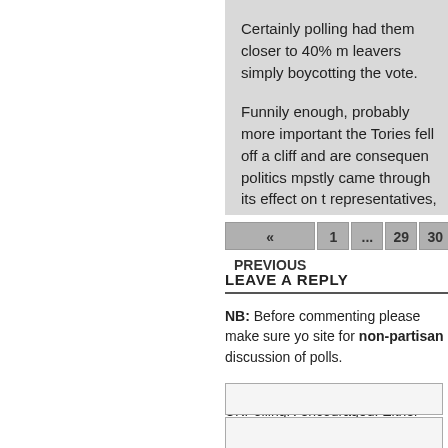Certainly polling had them closer to 40% m leavers simply boycotting the vote.

Funnily enough, probably more important the Tories fell off a cliff and are consequen politics mpstly came through its effect on t representatives, and it looks as if history is
« PREVIOUS  1  ...  29  30  31
LEAVE A REPLY
NB: Before commenting please make sure yo site for non-partisan discussion of polls.
You are not currently logged into UKPollingR encouraged. Either login here, or register her Constituency Guide section of the site *shoul